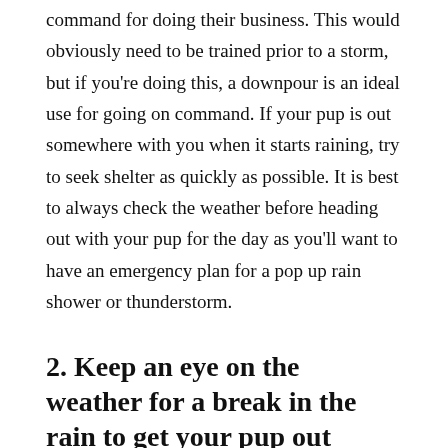command for doing their business. This would obviously need to be trained prior to a storm, but if you're doing this, a downpour is an ideal use for going on command. If your pup is out somewhere with you when it starts raining, try to seek shelter as quickly as possible. It is best to always check the weather before heading out with your pup for the day as you'll want to have an emergency plan for a pop up rain shower or thunderstorm.
2. Keep an eye on the weather for a break in the rain to get your pup out
If your pup is going on a pee strike and truly refuses to go outside in a downpour, try to find a break in the storm. While you might not be able to wait until it stops